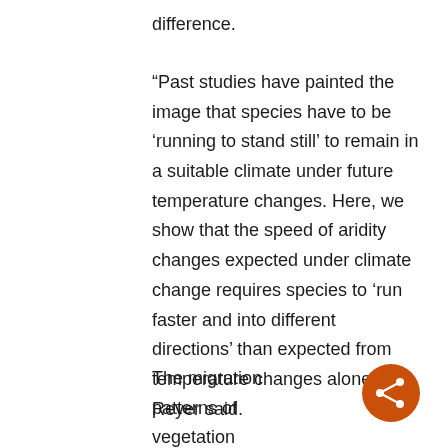difference.
“Past studies have painted the image that species have to be ‘running to stand still’ to remain in a suitable climate under future temperature changes. Here, we show that the speed of aridity changes expected under climate change requires species to ‘run faster and into different directions’ than expected from temperature changes alone,” Reyer said.
The migration patterns of vegetation greenness tracked changes in aridity velocity in multiple regions. Among